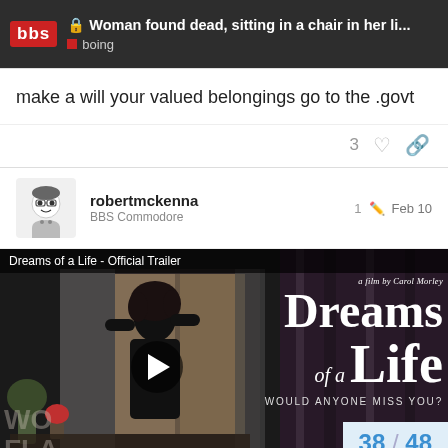Woman found dead, sitting in a chair in her li... boing
make a will your valued belongings go to the .govt
3
robertmckenna
BBS Commodore
1  Feb 10
[Figure (screenshot): Video thumbnail for 'Dreams of a Life - Official Trailer' showing a silhouette of a woman at a window. Film by Carol Morley. Text reads: Dreams of a Life - WOULD ANYONE MISS YOU? Play button visible.]
38 / 48